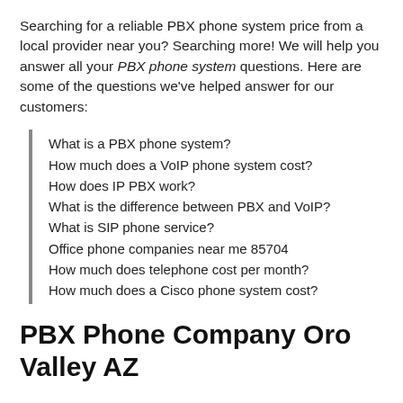Searching for a reliable PBX phone system price from a local provider near you? Searching more! We will help you answer all your PBX phone system questions. Here are some of the questions we've helped answer for our customers:
What is a PBX phone system?
How much does a VoIP phone system cost?
How does IP PBX work?
What is the difference between PBX and VoIP?
What is SIP phone service?
Office phone companies near me 85704
How much does telephone cost per month?
How much does a Cisco phone system cost?
PBX Phone Company Oro Valley AZ